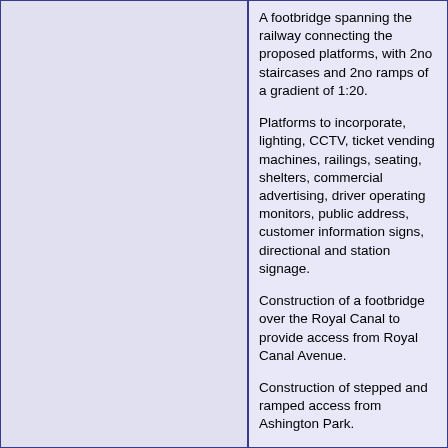A footbridge spanning the railway connecting the proposed platforms, with 2no staircases and 2no ramps of a gradient of 1:20.
Platforms to incorporate, lighting, CCTV, ticket vending machines, railings, seating, shelters, commercial advertising, driver operating monitors, public address, customer information signs, directional and station signage.
Construction of a footbridge over the Royal Canal to provide access from Royal Canal Avenue.
Construction of stepped and ramped access from Ashington Park.
Installation of street lighting to footpaths extending from the proposed access at Ashington Park.